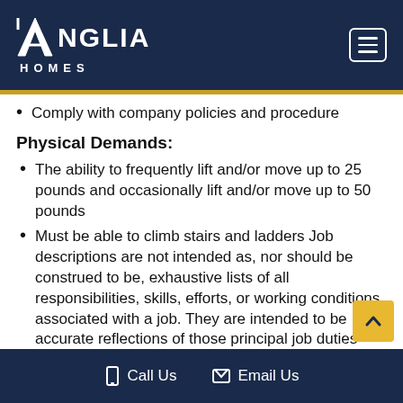Anglia Homes
Comply with company policies and procedure
Physical Demands:
The ability to frequently lift and/or move up to 25 pounds and occasionally lift and/or move up to 50 pounds
Must be able to climb stairs and ladders Job descriptions are not intended as, nor should be construed to be, exhaustive lists of all responsibilities, skills, efforts, or working conditions associated with a job. They are intended to be accurate reflections of those principal job duties and responsibilities essential for making fair pay decisions about the job.
Call Us   Email Us